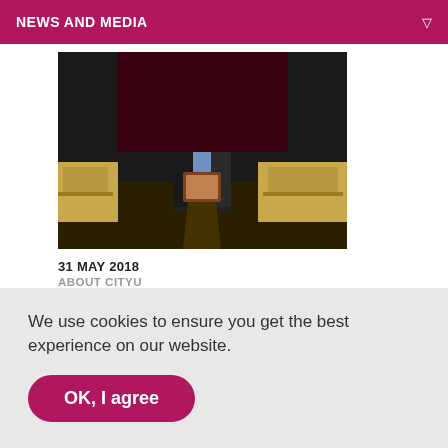NEWS AND MEDIA
[Figure (photo): A man in a dark suit holding a plaque, standing in a large auditorium with wooden chairs in the background.]
31 MAY 2018
ABOUT CITYU
Highest national honour in engineering, tech for
We use cookies to ensure you get the best experience on our website.
OK, I agree